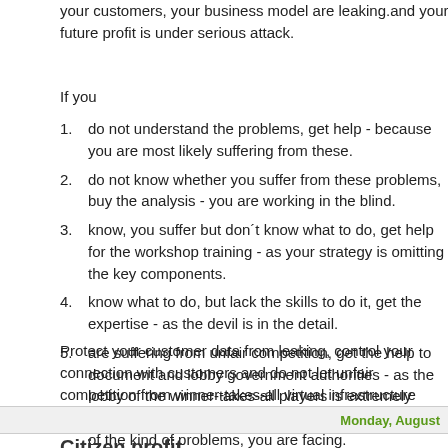your customers, your business model are leaking.and your future profit is under serious attack.
If you
do not understand the problems, get help - because you are most likely suffering from these.
do not know whether you suffer from these problems, buy the analysis - you are working in the blind.
know, you suffer but don´t know what to do, get help for the workshop training - as your strategy is omitting the key components.
know what to do, but lack the skills to do it, get the expertise - as the devil is in the detail.
are suffering from unfair competition, get the help to document and lobby government authorities - as the lobby of the winner-takes-all players is extremely powerful and politicians and bureaucrats have no idea of the kind of problems, you are facing.
Protect your customer data from leaking, control your connection with customers and do not let unfair competition from winner-takes-all virtual infrastructure erode your market.
Monday, August
Citizen profit